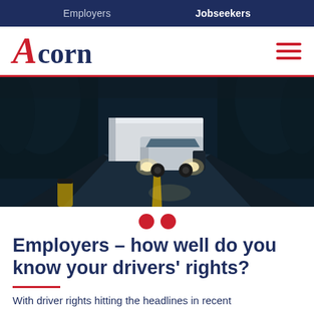Employers   Jobseekers
[Figure (logo): Acorn recruitment company logo with red italic A and navy blue text 'corn', plus red hamburger menu icon]
[Figure (photo): A large white articulated truck/lorry driving on a dark wet road at night through a forested area, headlights on]
Employers – how well do you know your drivers' rights?
With driver rights hitting the headlines in recent